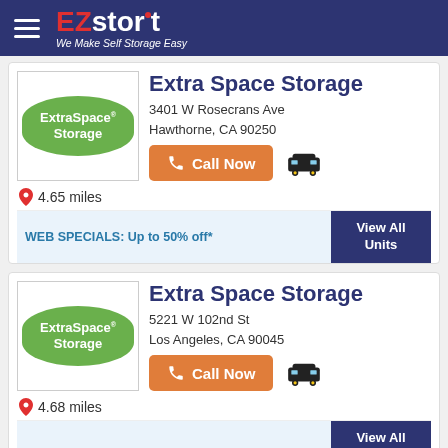EZstorit - We Make Self Storage Easy
Extra Space Storage
3401 W Rosecrans Ave
Hawthorne, CA 90250
Call Now
4.65 miles
WEB SPECIALS: Up to 50% off*
View All Units
Extra Space Storage
5221 W 102nd St
Los Angeles, CA 90045
Call Now
4.68 miles
View All